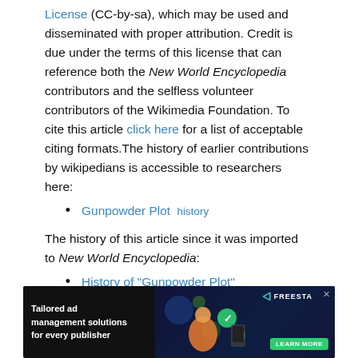License (CC-by-sa), which may be used and disseminated with proper attribution. Credit is due under the terms of this license that can reference both the New World Encyclopedia contributors and the selfless volunteer contributors of the Wikimedia Foundation. To cite this article click here for a list of acceptable citing formats.The history of earlier contributions by wikipedians is accessible to researchers here:
Gunpowder Plot  history
The history of this article since it was imported to New World Encyclopedia:
History of "Gunpowder Plot"
Note: Some restrictions may apply to use of individual images which are separately licensed.
[Figure (illustration): Advertisement banner: Tailored ad management solutions for every publisher, with Freesta branding and learn more button]